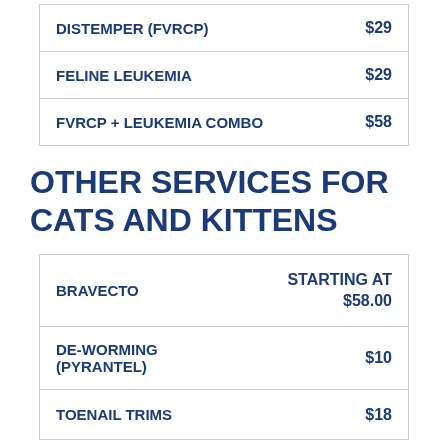| Service | Price |
| --- | --- |
| DISTEMPER (FVRCP) | $29 |
| FELINE LEUKEMIA | $29 |
| FVRCP + LEUKEMIA COMBO | $58 |
OTHER SERVICES FOR CATS AND KITTENS
| Service | Price |
| --- | --- |
| BRAVECTO | STARTING AT $58.00 |
| DE-WORMING (PYRANTEL) | $10 |
| TOENAIL TRIMS | $18 |